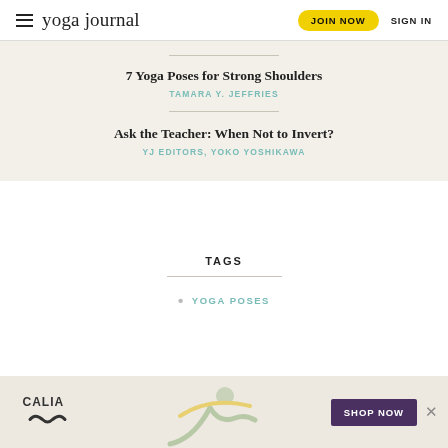yoga journal | JOIN NOW | SIGN IN
7 Yoga Poses for Strong Shoulders
TAMARA Y. JEFFRIES
Ask the Teacher: When Not to Invert?
YJ EDITORS, YOKO YOSHIKAWA
TAGS
YOGA POSES
[Figure (photo): CALIA advertisement banner with a woman doing a yoga pose, SHOP NOW button, and close button]